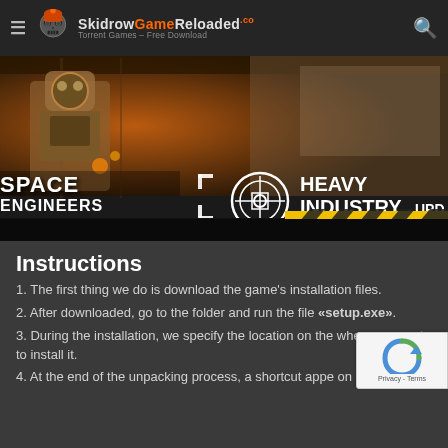SkidrowGameReloaded.co — Torrent Games – Free Download
[Figure (screenshot): Space Engineers Heavy Industry Update banner image showing a robot/mechanical figure on the left and the text 'SPACE ENGINEERS HEAVY INDUSTRY UPD' on a dark background with yellow hazard stripes at the bottom]
Instructions
1. The first thing we do is download the game's installation files.
2. After downloaded, go to the folder and run the file «setup.exe».
3. During the installation, we specify the location on the where we want to install it.
4. At the end of the unpacking process, a shortcut appe on the desktop.